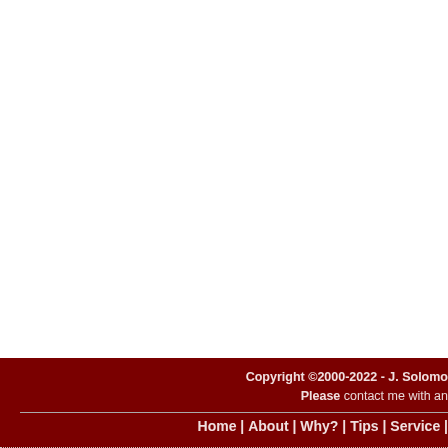Copyright ©2000-2022 - J. Solomo Please contact me with an
Home | About | Why? | Tips | Service |